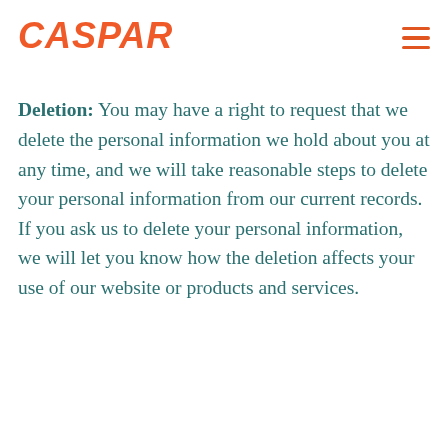CASPAR
to request that we transfer this personal information to a third party.
Deletion: You may have a right to request that we delete the personal information we hold about you at any time, and we will take reasonable steps to delete your personal information from our current records. If you ask us to delete your personal information, we will let you know how the deletion affects your use of our website or products and services.